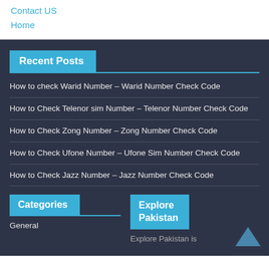Contact US
Home
Recent Posts
How to check Warid Number – Warid Number Check Code
How to Check Telenor sim Number – Telenor Number Check Code
How to Check Zong Number – Zong Number Check Code
How to Check Ufone Number – Ufone Sim Number Check Code
How to Check Jazz Number – Jazz Number Check Code
Categories
Explore Pakistan
General
Explore Pakistan is